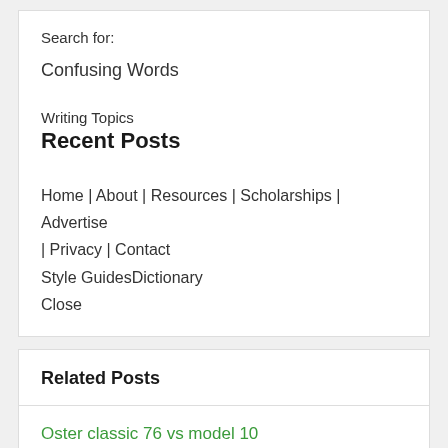Search for:
Confusing Words
Writing Topics
Recent Posts
Home | About | Resources | Scholarships | Advertise | Privacy | Contact
Style GuidesDictionary
Close
Related Posts
Oster classic 76 vs model 10